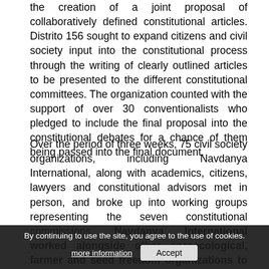the creation of a joint proposal of collaboratively defined constitutional articles. Distrito 156 sought to expand citizens and civil society input into the constitutional process through the writing of clearly outlined articles to be presented to the different constitutional committees. The organization counted with the support of over 30 conventionalists who pledged to include the final proposal into the constitutional debates for a chance of them being passed into the final document.
Over the period of three weeks, 75 civil society organizations, including Navdanya International, along with academics, citizens, lawyers and constitutional advisors met in person, and broke up into working groups representing the seven constitutional commissions. Navdanya International worked alongside other agroecological, farmer and seed freedom organizations to draft a proposition to guarantee the right to save, exchange and protect traditional and the right to healthy toxic-free food, protection of local food economies and food sovereignty, the further
By continuing to use the site, you agree to the use of cookies.